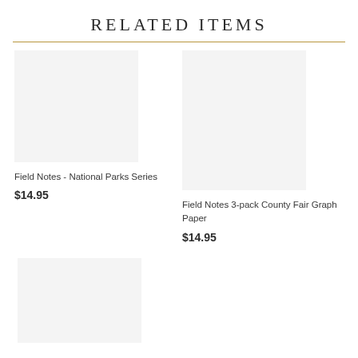RELATED ITEMS
[Figure (photo): Product image placeholder for Field Notes - National Parks Series]
Field Notes - National Parks Series
$14.95
[Figure (photo): Product image placeholder for Field Notes 3-pack County Fair Graph Paper]
Field Notes 3-pack County Fair Graph Paper
$14.95
[Figure (photo): Product image placeholder — third item, partial view]